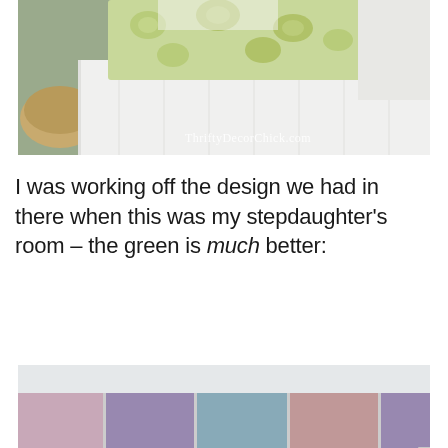[Figure (photo): Bedroom photo showing white bedding with green floral pattern duvet/throw and white bedskirt, with a woven pouf on the left side. Watermark reads 'ThriftyDecorChick.com']
I was working off the design we had in there when this was my stepdaughter's room – the green is much better:
[Figure (photo): Room interior showing colored rectangular panels on the wall in pink/mauve, purple/lavender, blue/teal, and pink tones, with a partial close button visible in the bottom right corner]